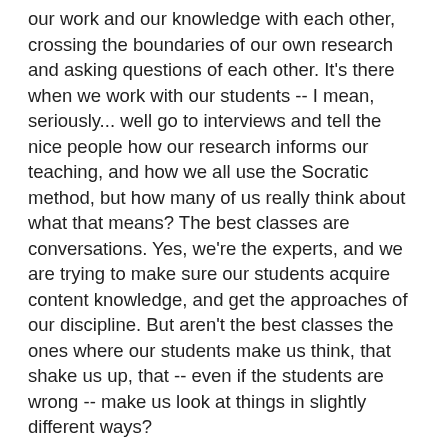our work and our knowledge with each other, crossing the boundaries of our own research and asking questions of each other. It's there when we work with our students -- I mean, seriously... well go to interviews and tell the nice people how our research informs our teaching, and how we all use the Socratic method, but how many of us really think about what that means? The best classes are conversations. Yes, we're the experts, and we are trying to make sure our students acquire content knowledge, and get the approaches of our discipline. But aren't the best classes the ones where our students make us think, that shake us up, that -- even if the students are wrong -- make us look at things in slightly different ways?
The conversation is there when we go to conferences, too. And blogs. You all know this -- you read blogs! But when we go to conferences, is the point to talk about our research, or to share it? Why do we do it? Ok, partially to keep our jobs and pad our CVs. But I know for me, it's more that giving a paper is a ticket to The Conversation. It's a chance to hang out with cool, smart people and share ideas. I want to hear about what other people are doing, and yes, tell them about